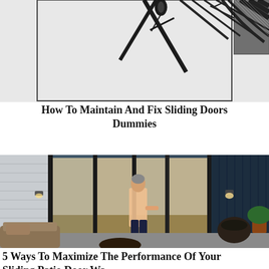[Figure (illustration): Cropped illustration showing a sliding door mechanism with diagonal black lines and hatching on a light gray background, appearing to show a door frame cross-section or diagram.]
How To Maintain And Fix Sliding Doors Dummies
[Figure (photo): Photograph of a man standing at large black-framed sliding patio doors, viewed from outside at dusk. The interior shows a modern open-plan living/dining room with warm lighting, plants, and furniture. The exterior patio has a round chair, potted plant, and fire pit in the foreground.]
5 Ways To Maximize The Performance Of Your Sliding Patio Door Wa...